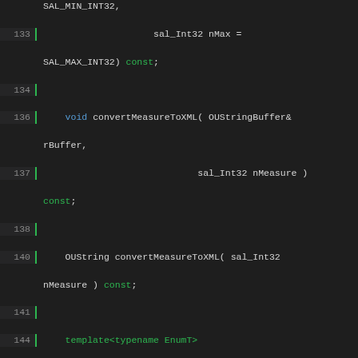[Figure (screenshot): Source code viewer showing C++ code lines 133-162, with line numbers on left, syntax highlighted code on right. Keywords in blue/green/orange, identifiers in white/teal.]